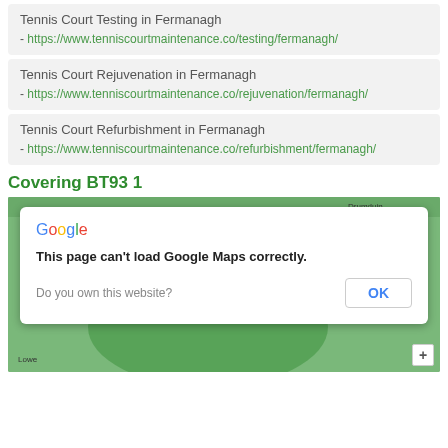Tennis Court Testing in Fermanagh - https://www.tenniscourtmaintenance.co/testing/fermanagh/
Tennis Court Rejuvenation in Fermanagh - https://www.tenniscourtmaintenance.co/rejuvenation/fermanagh/
Tennis Court Refurbishment in Fermanagh - https://www.tenniscourtmaintenance.co/refurbishment/fermanagh/
Covering BT93 1
[Figure (screenshot): Google Maps error dialog overlay on a map showing the Fermanagh area. Dialog reads: Google / This page can't load Google Maps correctly. / Do you own this website? [OK button]]